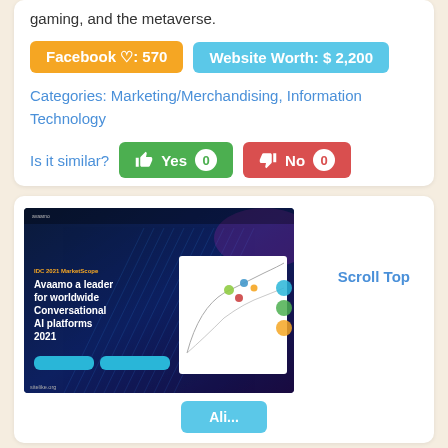gaming, and the metaverse.
Facebook ♡: 570
Website Worth: $ 2,200
Categories: Marketing/Merchandising, Information Technology
Is it similar? Yes 0  No 0
[Figure (screenshot): Screenshot of Avaamo website showing IDC 2021 MarketScape report: 'Avaamo a leader for worldwide Conversational AI platforms 2021' with a dark blue background and chart overlay. Watermark: sitelike.org]
Scroll Top